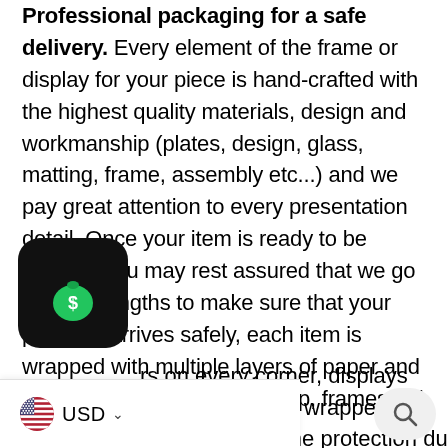Professional packaging for a safe delivery. Every element of the frame or display for your piece is hand-crafted with the highest quality materials, design and workmanship (plates, design, glass, matting, frame, assembly etc...) and we pay great attention to every presentation detail. Once your item is ready to be shipped you may rest assured that we go to great lengths to make sure that your package arrives safely, each item is wrapped with multiple layers of paper and or cardboard and bubble wrap, frames will have bubble wrap [corners] on every corner, displays will be attached [to a base] and will be wrapped with 1 inch thick bubble [wrap], ping, ensuring the protection du[ring transit].
[Figure (screenshot): Black rounded-square app icon with a green money bag emoji, partially overlapping the text at bottom-left.]
[Figure (screenshot): Currency selector bar showing US flag and 'USD' with a dropdown chevron, and a search button with magnifying glass icon at the bottom of the page.]